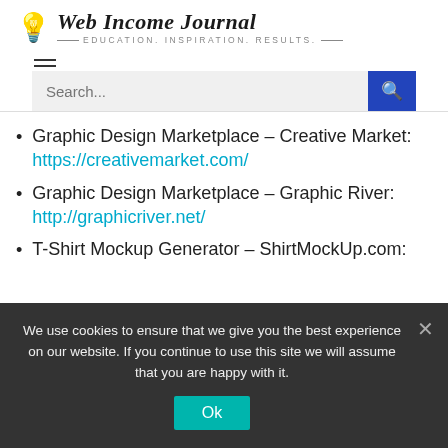Web Income Journal — EDUCATION. INSPIRATION. RESULTS.
[Figure (screenshot): Hamburger menu icon (three horizontal lines)]
[Figure (screenshot): Search bar with placeholder 'Search...' and blue search button with magnifying glass icon]
Graphic Design Marketplace – Creative Market: https://creativemarket.com/
Graphic Design Marketplace – Graphic River: http://graphicriver.net/
T-Shirt Mockup Generator – ShirtMockUp.com:
We use cookies to ensure that we give you the best experience on our website. If you continue to use this site we will assume that you are happy with it. Ok